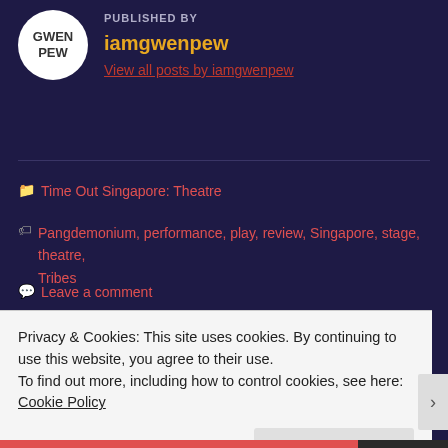[Figure (illustration): Circular avatar with text GWEN PEW on dark navy background]
PUBLISHED BY
iamgwenpew
View all posts by iamgwenpew
Time Out Singapore: Theatre
Pangdemonium, performance, play, review, Singapore, stage, theatre, Tribes
Leave a comment
Leave a Reply
Privacy & Cookies: This site uses cookies. By continuing to use this website, you agree to their use.
To find out more, including how to control cookies, see here: Cookie Policy